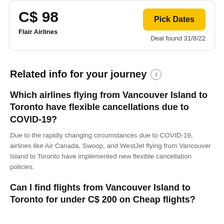C$ 98
Flair Airlines
Pick Dates
Deal found 31/8/22
Related info for your journey
Which airlines flying from Vancouver Island to Toronto have flexible cancellations due to COVID-19?
Due to the rapidly changing circumstances due to COVID-19, airlines like Air Canada, Swoop, and WestJet flying from Vancouver Island to Toronto have implemented new flexible cancellation policies.
Can I find flights from Vancouver Island to Toronto for under C$ 200 on Cheap flights?